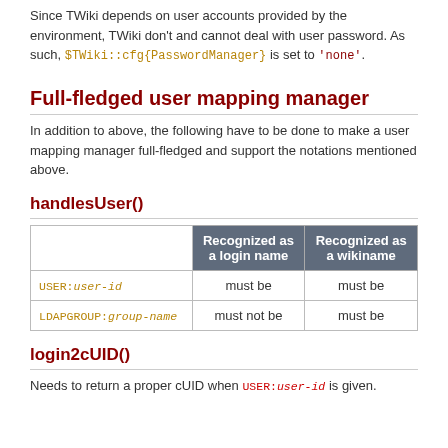Since TWiki depends on user accounts provided by the environment, TWiki don't and cannot deal with user password. As such, $TWiki::cfg{PasswordManager} is set to 'none'.
Full-fledged user mapping manager
In addition to above, the following have to be done to make a user mapping manager full-fledged and support the notations mentioned above.
handlesUser()
|  | Recognized as a login name | Recognized as a wikiname |
| --- | --- | --- |
| USER:user-id | must be | must be |
| LDAPGROUP:group-name | must not be | must be |
login2cUID()
Needs to return a proper cUID when USER:user-id is given.